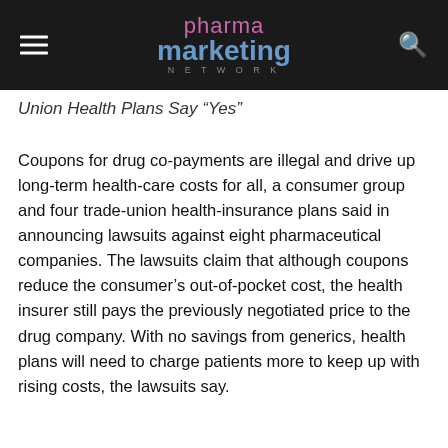pharma marketing network
Union Health Plans Say “Yes”
Coupons for drug co-payments are illegal and drive up long-term health-care costs for all, a consumer group and four trade-union health-insurance plans said in announcing lawsuits against eight pharmaceutical companies. The lawsuits claim that although coupons reduce the consumer’s out-of-pocket cost, the health insurer still pays the previously negotiated price to the drug company. With no savings from generics, health plans will need to charge patients more to keep up with rising costs, the lawsuits say.